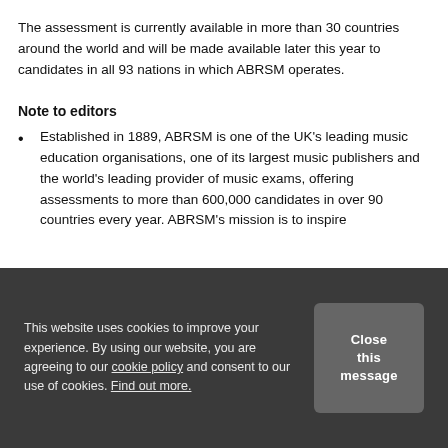The assessment is currently available in more than 30 countries around the world and will be made available later this year to candidates in all 93 nations in which ABRSM operates.
Note to editors
Established in 1889, ABRSM is one of the UK's leading music education organisations, one of its largest music publishers and the world's leading provider of music exams, offering assessments to more than 600,000 candidates in over 90 countries every year. ABRSM's mission is to inspire
This website uses cookies to improve your experience. By using our website, you are agreeing to our cookie policy and consent to our use of cookies. Find out more.